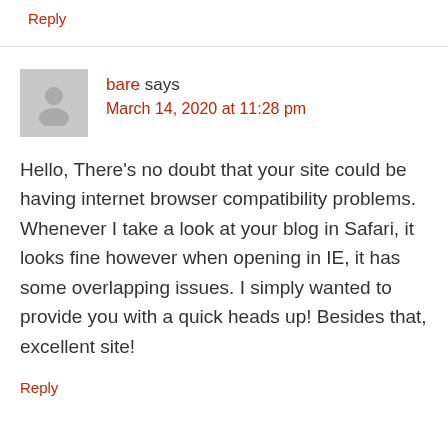Reply
bare says
March 14, 2020 at 11:28 pm
Hello, There's no doubt that your site could be having internet browser compatibility problems. Whenever I take a look at your blog in Safari, it looks fine however when opening in IE, it has some overlapping issues. I simply wanted to provide you with a quick heads up! Besides that, excellent site!
Reply